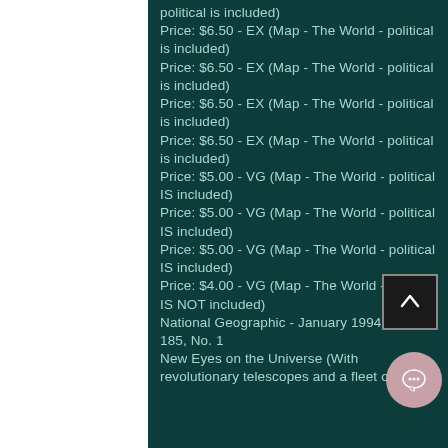Price: $6.50 - EX (Map - The World - political is included)
Price: $6.50 - EX (Map - The World - political is included)
Price: $6.50 - EX (Map - The World - political is included)
Price: $6.50 - EX (Map - The World - political is included)
Price: $5.00 - VG (Map - The World - political IS included)
Price: $5.00 - VG (Map - The World - political IS included)
Price: $5.00 - VG (Map - The World - political IS included)
Price: $4.00 - VG (Map - The World - political IS NOT included)
National Geographic - January 1994, Vol. 185, No. 1
New Eyes on the Universe (With revolutionary telescopes and a fleet of